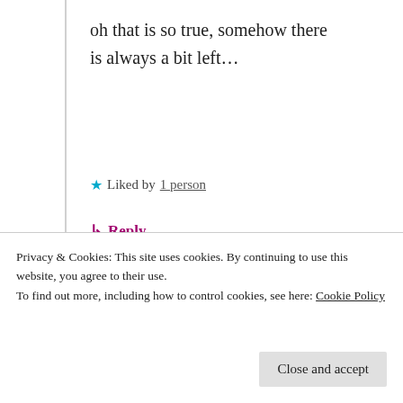oh that is so true, somehow there is always a bit left…
★ Liked by 1 person
↳ Reply
[Figure (illustration): Podcast app advertisement banner showing '...for podcast lovers. Download now' with an app screenshot showing '99% Invisible' podcast app with dark grid card and teal/green card]
Privacy & Cookies: This site uses cookies. By continuing to use this website, you agree to their use. To find out more, including how to control cookies, see here: Cookie Policy
Close and accept